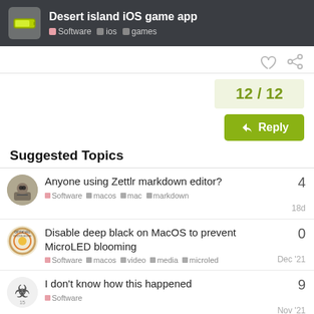Desert island iOS game app — Software · ios · games
12 / 12
Reply
Suggested Topics
Anyone using Zettlr markdown editor? — Software · macos · mac · markdown — 4 replies — 18d
Disable deep black on MacOS to prevent MicroLED blooming — Software · macos · video · media · microled — 0 replies — Dec '21
I don't know how this happened — Software — 9 replies — Nov '21
Tracking Lab Results — 6 replies